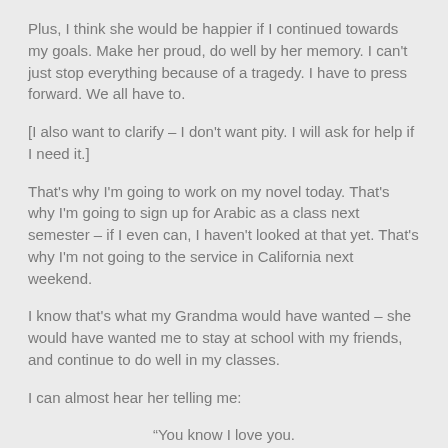Plus, I think she would be happier if I continued towards my goals. Make her proud, do well by her memory. I can't just stop everything because of a tragedy. I have to press forward. We all have to.
[I also want to clarify – I don't want pity. I will ask for help if I need it.]
That's why I'm going to work on my novel today. That's why I'm going to sign up for Arabic as a class next semester – if I even can, I haven't looked at that yet. That's why I'm not going to the service in California next weekend.
I know that's what my Grandma would have wanted – she would have wanted me to stay at school with my friends, and continue to do well in my classes.
I can almost hear her telling me:
“You know I love you.
And That I’m proud of you.
Now keep going.”